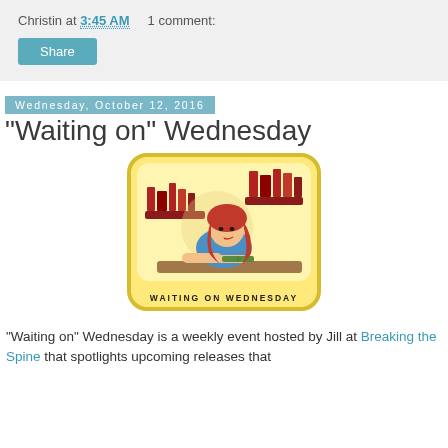Christin at 3:45 AM    1 comment:
Share
Wednesday, October 12, 2016
"Waiting on" Wednesday
[Figure (illustration): Waiting on Wednesday blog meme image: cartoon red-haired woman leaning on a desk reading a book, with red bookshelves in the background, yellow rounded-rectangle frame, text 'WAITING ON WEDNESDAY' below]
"Waiting on" Wednesday is a weekly event hosted by Jill at Breaking the Spine that spotlights upcoming releases that